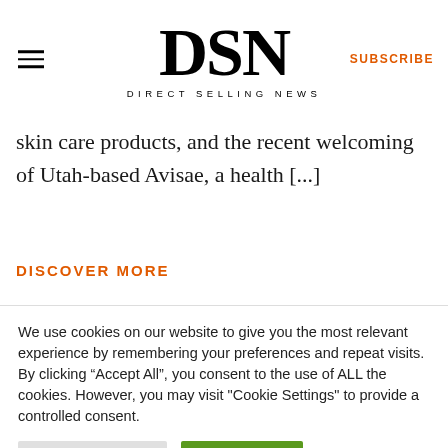DSN DIRECT SELLING NEWS SUBSCRIBE
skin care products, and the recent welcoming of Utah-based Avisae, a health [...]
DISCOVER MORE
We use cookies on our website to give you the most relevant experience by remembering your preferences and repeat visits. By clicking “Accept All”, you consent to the use of ALL the cookies. However, you may visit "Cookie Settings" to provide a controlled consent.
Cookie Settings | Accept All